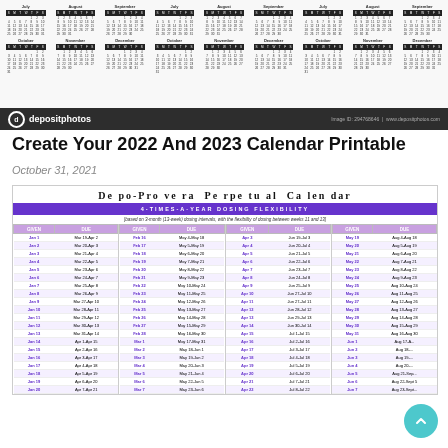[Figure (illustration): Miniature year-at-a-glance calendars arranged in rows (July, August, September, October, November, December shown for multiple years), with a depositphotos watermark bar at the bottom of the image.]
Create Your 2022 And 2023 Calendar Printable
October 31, 2021
[Figure (table-as-image): Depo-Provera Perpetual Calendar showing 4-times-a-year dosing flexibility. Table with Given and Due date columns spanning Jan through May entries and beyond, with purple header bar.]